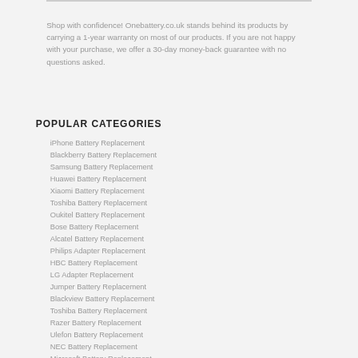Shop with confidence! Onebattery.co.uk stands behind its products by carrying a 1-year warranty on most of our products. If you are not happy with your purchase, we offer a 30-day money-back guarantee with no questions asked.
POPULAR CATEGORIES
iPhone Battery Replacement
Blackberry Battery Replacement
Samsung Battery Replacement
Huawei Battery Replacement
Xiaomi Battery Replacement
Toshiba Battery Replacement
Oukitel Battery Replacement
Bose Battery Replacement
Alcatel Battery Replacement
Philips Adapter Replacement
HBC Battery Replacement
LG Adapter Replacement
Jumper Battery Replacement
Blackview Battery Replacement
Toshiba Battery Replacement
Razer Battery Replacement
Ulefon Battery Replacement
NEC Battery Replacement
Microsoft Battery Replacement
Mitsubishi Battery Replacement